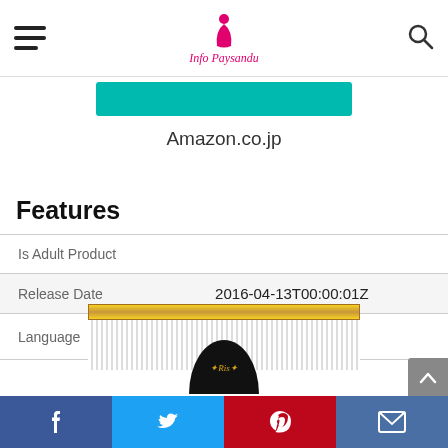Info Paysandu
[Figure (screenshot): Teal/green button partially visible at top of content area]
Amazon.co.jp
Features
| Is Adult Product |  |
| Release Date | 2016-04-13T00:00:01Z |
| Language | 日日日 |
[Figure (photo): Partial product image showing gold bar and dark circular logo at bottom of page]
Social share buttons: Facebook, Twitter, Pinterest, Email